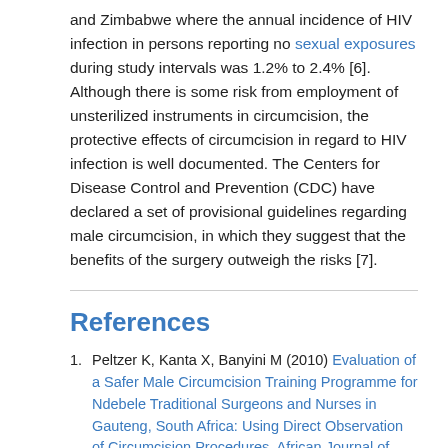and Zimbabwe where the annual incidence of HIV infection in persons reporting no sexual exposures during study intervals was 1.2% to 2.4% [6]. Although there is some risk from employment of unsterilized instruments in circumcision, the protective effects of circumcision in regard to HIV infection is well documented. The Centers for Disease Control and Prevention (CDC) have declared a set of provisional guidelines regarding male circumcision, in which they suggest that the benefits of the surgery outweigh the risks [7].
References
1. Peltzer K, Kanta X, Banyini M (2010) Evaluation of a Safer Male Circumcision Training Programme for Ndebele Traditional Surgeons and Nurses in Gauteng, South Africa: Using Direct Observation of Circumcision Procedures. African Journal of Traditional, Complementary, and Alternative Medicines 7:153-159.